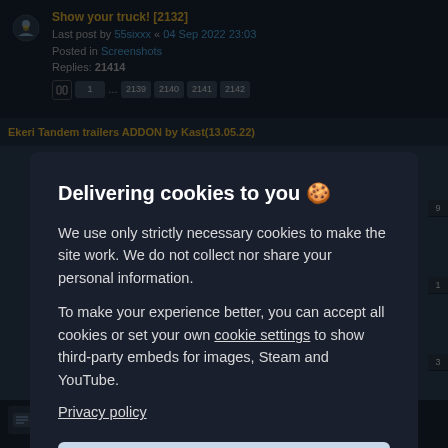Show your truck! [2132] - Last post by 55sixxx « 04 Sep 2022 23:03 - Posted in Screenshots - Replies: 21414
Ekeri Tandem trailers ADDON by Kast(13.05.22)
Delivering cookies to you 🍪
We use only strictly necessary cookies to make the site work. We do not collect nor share your personal information.
To make your experience better, you can accept all cookies or set your own cookie settings to show third-party embeds for images, Steam and YouTube.
Privacy policy
Accept all
Reject optional
Last post by Some newbie driver « 04 Sep 2022 22:12 - Posted in General discussion about the game